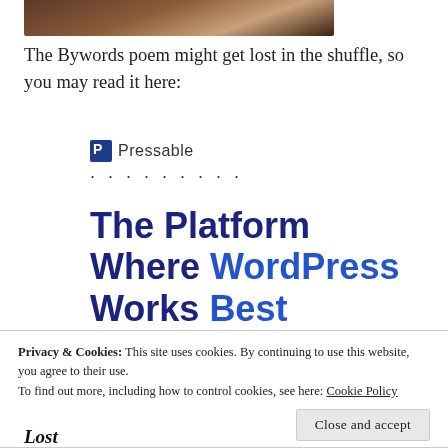[Figure (photo): Cropped top portion of a photograph showing a wooden surface or person, partially cut off at top of page]
The Bywords poem might get lost in the shuffle, so you may read it here:
[Figure (logo): Pressable logo with blue square icon and word 'Pressable', followed by a row of dots]
The Platform Where WordPress Works Best
[Figure (other): Blue call-to-action button partially visible]
Privacy & Cookies: This site uses cookies. By continuing to use this website, you agree to their use.
To find out more, including how to control cookies, see here: Cookie Policy
Close and accept
Lost